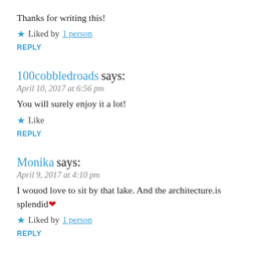Thanks for writing this!
★ Liked by 1 person
REPLY
100cobbledroads says:
April 10, 2017 at 6:56 pm
You will surely enjoy it a lot!
★ Like
REPLY
Monika says:
April 9, 2017 at 4:10 pm
I wouod love to sit by that lake. And the architecture.is splendid❤
★ Liked by 1 person
REPLY